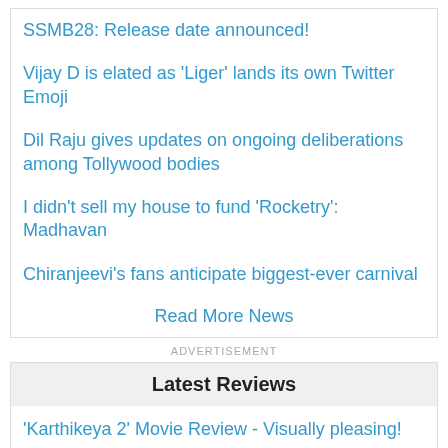SSMB28: Release date announced!
Vijay D is elated as 'Liger' lands its own Twitter Emoji
Dil Raju gives updates on ongoing deliberations among Tollywood bodies
I didn't sell my house to fund 'Rocketry': Madhavan
Chiranjeevi's fans anticipate biggest-ever carnival
Read More News
ADVERTISEMENT
Latest Reviews
'Karthikeya 2' Movie Review - Visually pleasing!
'...rla Niyojakavargam' Movie Review - Lifeless, ...!
'Sita Ramam' Movie Review - Heart-touching, grand, unpredictable!
[Figure (logo): Colorful worm/banana emoji style logo in a dark purple circular chat bubble]
[Figure (illustration): Dark red/maroon scroll-to-top button with upward arrow]